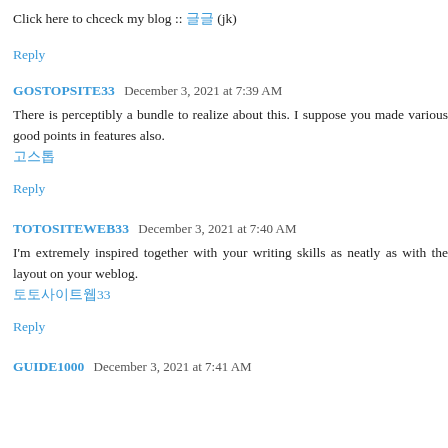Click here to chceck my blog :: 글 (jk)
Reply
GOSTOPSITE33  December 3, 2021 at 7:39 AM
There is perceptibly a bundle to realize about this. I suppose you made various good points in features also. 고스톱
Reply
TOTOSITEWEB33  December 3, 2021 at 7:40 AM
I'm extremely inspired together with your writing skills as neatly as with the layout on your weblog. 토토사이트웹
Reply
GUIDE1000  December 3, 2021 at 7:41 AM